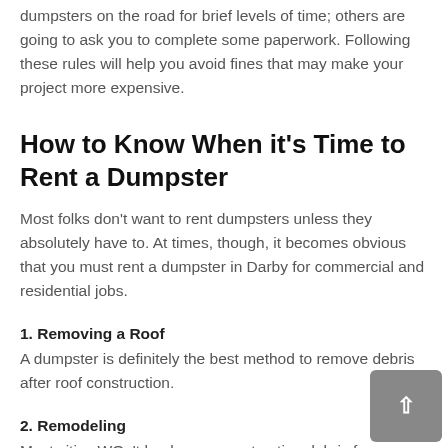dumpsters on the road for brief levels of time; others are going to ask you to complete some paperwork. Following these rules will help you avoid fines that may make your project more expensive.
How to Know When it's Time to Rent a Dumpster
Most folks don't want to rent dumpsters unless they absolutely have to. At times, though, it becomes obvious that you must rent a dumpster in Darby for commercial and residential jobs.
1. Removing a Roof
A dumpster is definitely the best method to remove debris after roof construction.
2. Remodeling
Most cities WOn't haul away construction debris for you. It's your duty to ensure you have an appropriate container to collect discarded stuff from remodeling projects. Even though you just